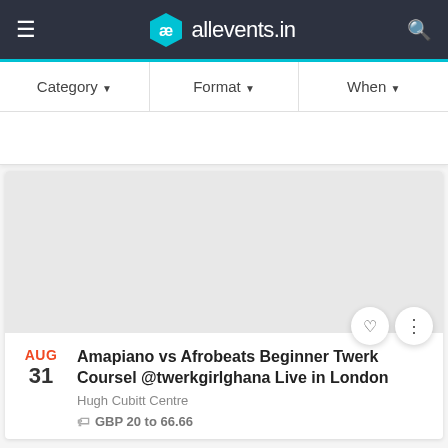ae allevents.in
Category ▼   Format ▼   When ▼
[Figure (screenshot): Gray placeholder image area for event listing]
Amapiano vs Afrobeats Beginner Twerk Coursel @twerkgirlghana Live in London
Hugh Cubitt Centre
GBP 20 to 66.66